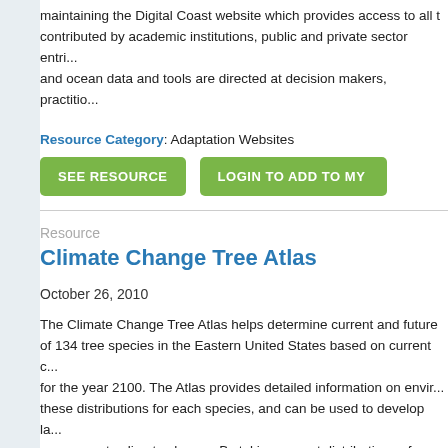maintaining the Digital Coast website which provides access to all the data contributed by academic institutions, public and private sector entities, and ocean data and tools are directed at decision makers, practitio...
Resource Category: Adaptation Websites
SEE RESOURCE
LOGIN TO ADD TO MY...
Resource
Climate Change Tree Atlas
October 26, 2010
The Climate Change Tree Atlas helps determine current and future of 134 tree species in the Eastern United States based on current c for the year 2100. The Atlas provides detailed information on envir these distributions for each species, and can be used to develop la responses to climate change. By taking current distributions of tree...
Resource Category: Education and Outreach
SEE RESOURCE
LOGIN TO ADD TO MY...